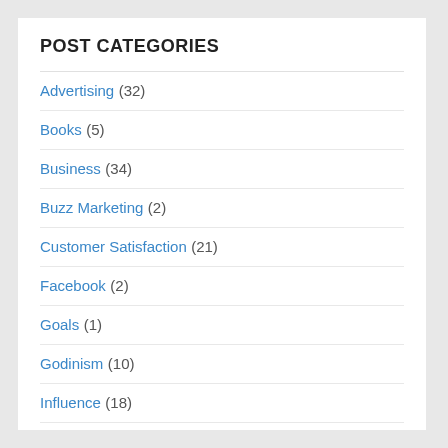POST CATEGORIES
Advertising (32)
Books (5)
Business (34)
Buzz Marketing (2)
Customer Satisfaction (21)
Facebook (2)
Goals (1)
Godinism (10)
Influence (18)
Internet (28)